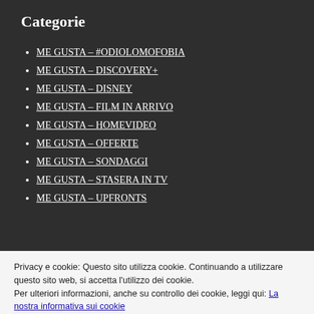Categorie
ME GUSTA – #ODIOLOMOFOBIA
ME GUSTA – DISCOVERY+
ME GUSTA – DISNEY
ME GUSTA – FILM IN ARRIVO
ME GUSTA – HOMEVIDEO
ME GUSTA – OFFERTE
ME GUSTA – SONDAGGI
ME GUSTA – STASERA IN TV
ME GUSTA – UPFRONTS
Privacy e cookie: Questo sito utilizza cookie. Continuando a utilizzare questo sito web, si accetta l'utilizzo dei cookie.
Per ulteriori informazioni, anche su controllo dei cookie, leggi qui: La nostra informativa sui cookie
Accetta e chiudi
ME GUSTA CELEBRITIES